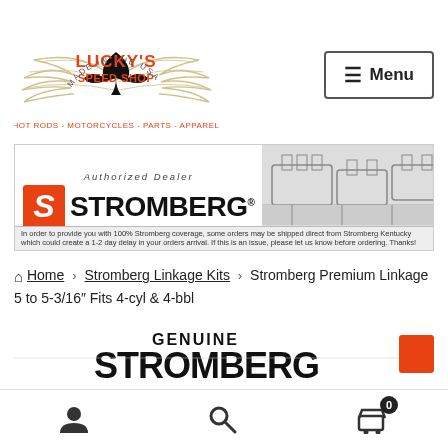[Figure (logo): Lucky's Speed Shop logo with wings, spade, and orange text. 'HOT RODS - MOTORCYCLES - PARTS - APPAREL' tagline.]
[Figure (other): Menu button with hamburger icon and 'Menu' text in a bordered box.]
[Figure (other): Stromberg Authorized Dealer banner with orange S logo, STROMBERG brand name, engine illustration, and disclaimer text: 'In order to provide you with 100% Stromberg coverage, some orders may be shipped direct from Stromberg Kentucky which could create a 1-2 day delay in your orders arrival. If this is an issue, please let us know before ordering. Thanks!']
Home > Stromberg Linkage Kits > Stromberg Premium Linkage 5 to 5-3/16" Fits 4-cyl & 4-bbl
[Figure (other): Product image partially visible showing 'GENUINE' text above 'STROMBERG' brand text, with orange element on right edge.]
User account icon | Search icon | Cart icon with badge showing 0